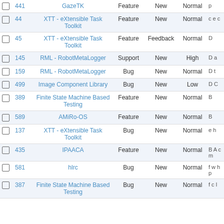|  | # | Project | Type | Status | Priority |  |
| --- | --- | --- | --- | --- | --- | --- |
| ☐ | 441 | GazeTK | Feature | New | Normal | p… |
| ☐ | 44 | XTT - eXtensible Task Toolkit | Feature | New | Normal | c…e…c… |
| ☐ | 45 | XTT - eXtensible Task Toolkit | Feature | Feedback | Normal | D… |
| ☐ | 145 | RML - RobotMetaLogger | Support | New | High | D…a… |
| ☐ | 159 | RML - RobotMetaLogger | Bug | New | Normal | D…t… |
| ☐ | 499 | Image Component Library | Bug | New | Low | D…C… |
| ☐ | 389 | Finite State Machine Based Testing | Feature | New | Normal | B… |
| ☐ | 589 | AMiRo-OS | Feature | New | Normal | B… |
| ☐ | 137 | XTT - eXtensible Task Toolkit | Bug | New | Normal | e…h… |
| ☐ | 435 | IPAACA | Feature | New | Normal | B…A…c…m… |
| ☐ | 581 | hlrc | Bug | New | Normal | f…w…h…p… |
| ☐ | 387 | Finite State Machine Based Testing | Bug | New | Normal | f…c…l… |